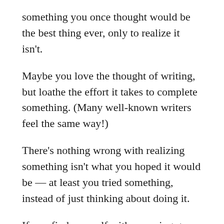something you once thought would be the best thing ever, only to realize it isn't.
Maybe you love the thought of writing, but loathe the effort it takes to complete something. (Many well-known writers feel the same way!)
There's nothing wrong with realizing something isn't what you hoped it would be — at least you tried something, instead of just thinking about doing it.
If you find yourself with recurring gaps in productivity, ask yourself: “Is writing what I really want to do?”